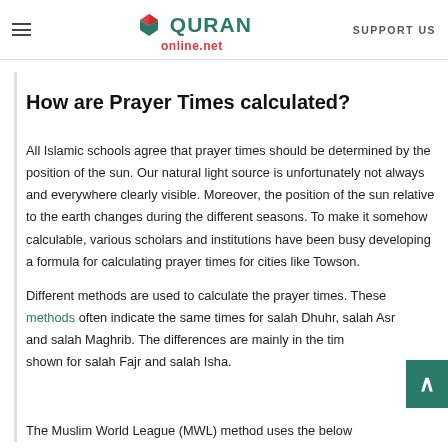≡  QURAN online.net  SUPPORT US
How are Prayer Times calculated?
All Islamic schools agree that prayer times should be determined by the position of the sun. Our natural light source is unfortunately not always and everywhere clearly visible. Moreover, the position of the sun relative to the earth changes during the different seasons. To make it somehow calculable, various scholars and institutions have been busy developing a formula for calculating prayer times for cities like Towson.
Different methods are used to calculate the prayer times. These methods often indicate the same times for salah Dhuhr, salah Asr and salah Maghrib. The differences are mainly in the times shown for salah Fajr and salah Isha.
The Muslim World League (MWL) method uses the below